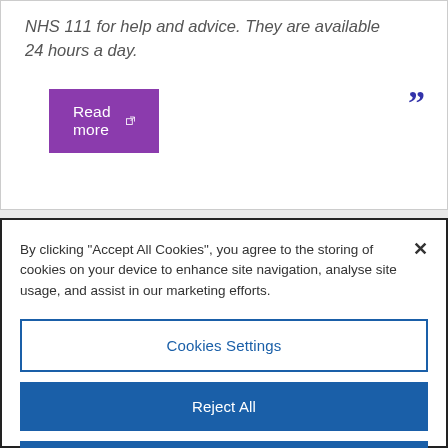NHS 111 for help and advice. They are available 24 hours a day.
Read more
By clicking "Accept All Cookies", you agree to the storing of cookies on your device to enhance site navigation, analyse site usage, and assist in our marketing efforts.
Cookies Settings
Reject All
Accept All Cookies